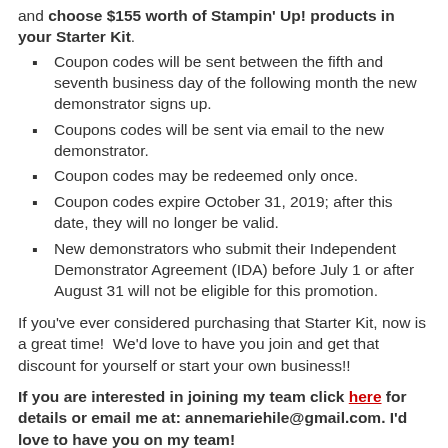and choose $155 worth of Stampin' Up! products in your Starter Kit.
Coupon codes will be sent between the fifth and seventh business day of the following month the new demonstrator signs up.
Coupons codes will be sent via email to the new demonstrator.
Coupon codes may be redeemed only once.
Coupon codes expire October 31, 2019; after this date, they will no longer be valid.
New demonstrators who submit their Independent Demonstrator Agreement (IDA) before July 1 or after August 31 will not be eligible for this promotion.
If you've ever considered purchasing that Starter Kit, now is a great time!  We'd love to have you join and get that discount for yourself or start your own business!!
If you are interested in joining my team click here for details or email me at: annemariehile@gmail.com. I'd love to have you on my team!